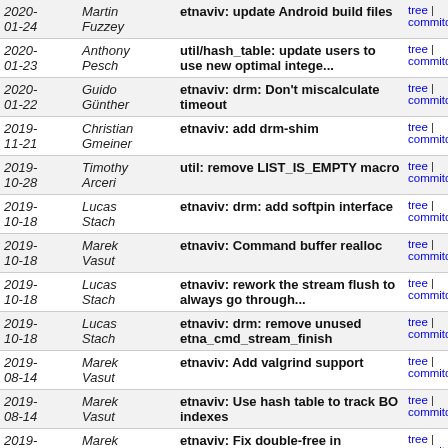| Date | Author | Commit message | Links |
| --- | --- | --- | --- |
| 2020-01-24 | Martin Fuzzey | etnaviv: update Android build files | tree | commitdiff |
| 2020-01-23 | Anthony Pesch | util/hash_table: update users to use new optimal intege... | tree | commitdiff |
| 2020-01-22 | Guido Günther | etnaviv: drm: Don't miscalculate timeout | tree | commitdiff |
| 2019-11-21 | Christian Gmeiner | etnaviv: add drm-shim | tree | commitdiff |
| 2019-10-28 | Timothy Arceri | util: remove LIST_IS_EMPTY macro | tree | commitdiff |
| 2019-10-18 | Lucas Stach | etnaviv: drm: add softpin interface | tree | commitdiff |
| 2019-10-18 | Marek Vasut | etnaviv: Command buffer realloc | tree | commitdiff |
| 2019-10-18 | Lucas Stach | etnaviv: rework the stream flush to always go through... | tree | commitdiff |
| 2019-10-18 | Lucas Stach | etnaviv: drm: remove unused etna_cmd_stream_finish | tree | commitdiff |
| 2019-08-14 | Marek Vasut | etnaviv: Add valgrind support | tree | commitdiff |
| 2019-08-14 | Marek Vasut | etnaviv: Use hash table to track BO indexes | tree | commitdiff |
| 2019-08-14 | Marek Vasut | etnaviv: Fix double-free in etna_bo_cache_free() | tree | commitdiff |
| 2019-08-09 | Marek Vasut | etnaviv: Remove etna_bo_from_handle() prototype | tree | commitdiff |